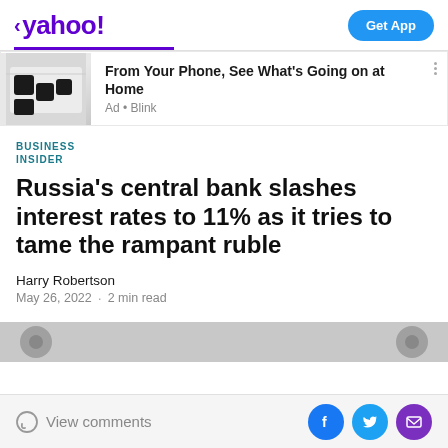< yahoo!  Get App
[Figure (screenshot): Ad banner: security cameras image with text 'From Your Phone, See What's Going on at Home' Ad • Blink]
BUSINESS INSIDER
Russia's central bank slashes interest rates to 11% as it tries to tame the rampant ruble
Harry Robertson
May 26, 2022 · 2 min read
View comments  [Facebook] [Twitter] [Mail]